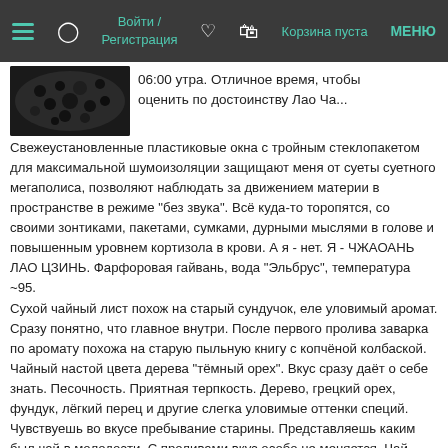Войти / Регистрация  Корзина пуста  МЕНЮ
[Figure (photo): Dark product photo, likely black tea leaves]
06:00 утра. Отличное время, чтобы оценить по достоинству Лао Ча...
Свежеустановленные пластиковые окна с тройным стеклопакетом для максимальной шумоизоляции защищают меня от суеты суетного мегаполиса, позволяют наблюдать за движением материи в пространстве в режиме "без звука". Всё куда-то торопятся, со своими зонтиками, пакетами, сумками, дурными мыслями в голове и повышенным уровнем кортизола в крови. А я - нет. Я - ЧЖАОАНЬ ЛАО ЦЗИНЬ. Фарфоровая гайвань, вода "Эльбрус", температура ~95.
Сухой чайный лист похож на старый сундучок, еле уловимый аромат. Сразу понятно, что главное внутри. После первого пролива заварка по аромату похожа на старую пыльную книгу с копчёной колбаской. Чайный настой цвета дерева "тёмный орех". Вкус сразу даёт о себе знать. Песочность. Приятная терпкость. Дерево, грецкий орех, фундук, лёгкий перец и другие слегка уловимые оттенки специй. Чувствуешь во вкусе пребывание старины. Представляешь каким был чай в молодости. С проливами вкус особо не меняется. Чай показывает себя с разных сторон, ощущаешь вкус в N-мерном пространстве. Состояние: блуждание по закоулкам сознания. Общение с чаем как с ним мудрецом, который помогает тебе находить